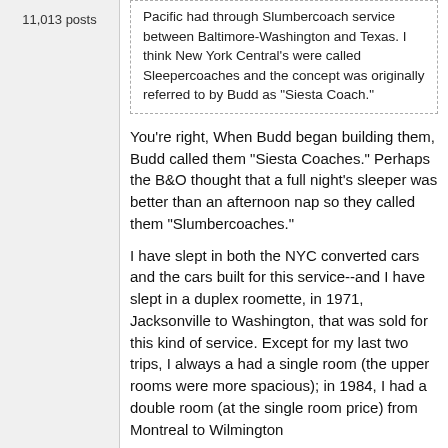11,013 posts
Pacific had through Slumbercoach service between Baltimore-Washington and Texas. I think New York Central's were called Sleepercoaches and the concept was originally referred to by Budd as "Siesta Coach."
You're right, When Budd began building them, Budd called them "Siesta Coaches." Perhaps the B&O thought that a full night's sleeper was better than an afternoon nap so they called them "Slumbercoaches."
I have slept in both the NYC converted cars and the cars built for this service--and I have slept in a duplex roomette, in 1971, Jacksonville to Washington, that was sold for this kind of service. Except for my last two trips, I always a had a single room (the upper rooms were more spacious); in 1984, I had a double room (at the single room price) from Montreal to Wilmington